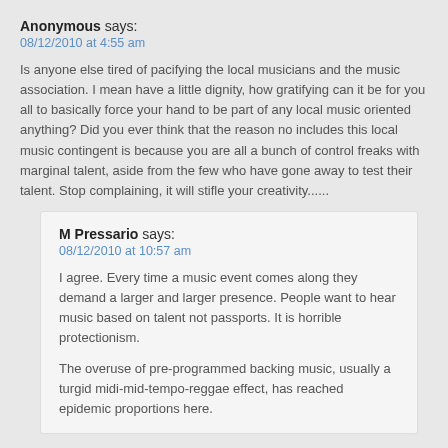Anonymous says:
08/12/2010 at 4:55 am
Is anyone else tired of pacifying the local musicians and the music association.  I mean have a little dignity, how gratifying can it be for you all to basically force your hand to be part of any local music oriented anything?  Did you ever think that the reason no includes this local music contingent is because you are all a bunch of control freaks with marginal talent, aside from the few who have gone away to test their talent.  Stop complaining, it will stifle your creativity......
M Pressario says:
08/12/2010 at 10:57 am
I agree.  Every time a music event comes along they demand a larger and larger presence.  People want to hear music based on talent not passports.  It is horrible protectionism.
The overuse of pre-programmed backing music, usually a turgid midi-mid-tempo-reggae effect, has reached epidemic proportions here.